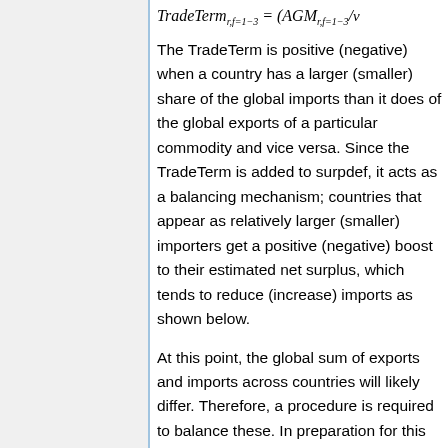The TradeTerm is positive (negative) when a country has a larger (smaller) share of the global imports than it does of the global exports of a particular commodity and vice versa. Since the TradeTerm is added to surpdef, it acts as a balancing mechanism; countries that appear as relatively larger (smaller) importers get a positive (negative) boost to their estimated net surplus, which tends to reduce (increase) imports as shown below.
At this point, the global sum of exports and imports across countries will likely differ. Therefore, a procedure is required to balance these. In preparation for this one more global variable and several country-level variables are calculated.